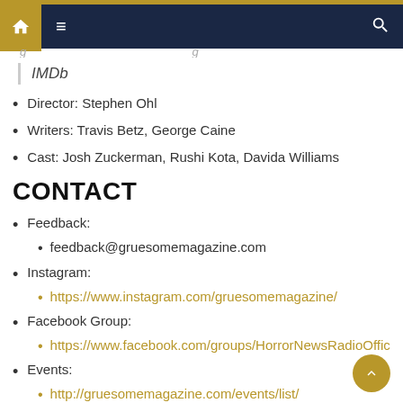Navigation bar with home, menu, and search icons
IMDb
Director: Stephen Ohl
Writers: Travis Betz, George Caine
Cast: Josh Zuckerman, Rushi Kota, Davida Williams
CONTACT
Feedback:
feedback@gruesomemagazine.com
Instagram:
https://www.instagram.com/gruesomemagazine/
Facebook Group:
https://www.facebook.com/groups/HorrorNewsRadioOffic
Events:
http://gruesomemagazine.com/events/list/